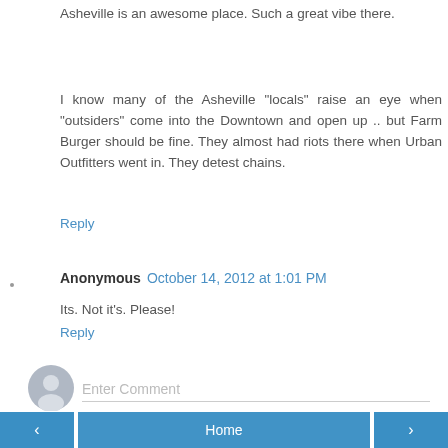Asheville is an awesome place. Such a great vibe there.
I know many of the Asheville "locals" raise an eye when "outsiders" come into the Downtown and open up .. but Farm Burger should be fine. They almost had riots there when Urban Outfitters went in. They detest chains.
Reply
Anonymous October 14, 2012 at 1:01 PM
Its. Not it's. Please!
Reply
[Figure (other): User avatar icon placeholder - grey silhouette of a person in a circle]
Enter Comment
< Home >